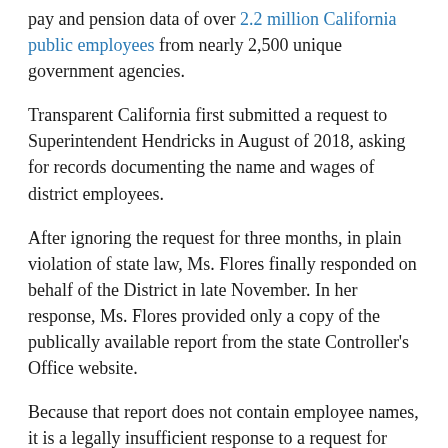pay and pension data of over 2.2 million California public employees from nearly 2,500 unique government agencies.
Transparent California first submitted a request to Superintendent Hendricks in August of 2018, asking for records documenting the name and wages of district employees.
After ignoring the request for three months, in plain violation of state law, Ms. Flores finally responded on behalf of the District in late November. In her response, Ms. Flores provided only a copy of the publically available report from the state Controller's Office website.
Because that report does not contain employee names, it is a legally insufficient response to a request for records documenting the names and wages of district employees.
After numerous follow-ups asking both Ms. Flores and Mr. Hendricks to comply with the law were ignored over the next 90 days, Transparent California had no other recourse but to file today's lawsuit.